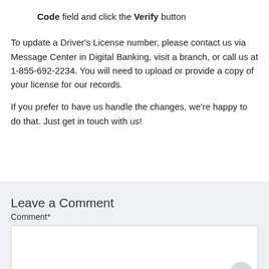Code field and click the Verify button
To update a Driver’s License number, please contact us via Message Center in Digital Banking, visit a branch, or call us at 1-855-692-2234. You will need to upload or provide a copy of your license for our records.
If you prefer to have us handle the changes, we’re happy to do that. Just get in touch with us!
Leave a Comment
Comment*